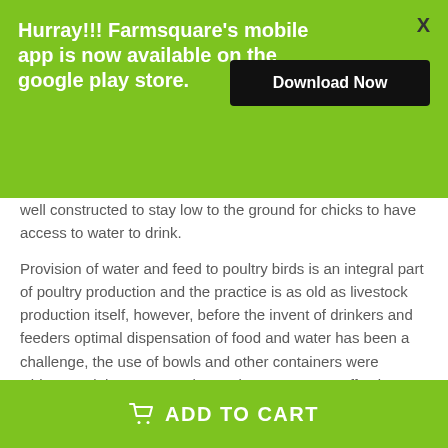Hurray!!! Farmsquare's mobile app is now available on the google play store.
well constructed to stay low to the ground for chicks to have access to water to drink.

Provision of water and feed to poultry birds is an integral part of poultry production and the practice is as old as livestock production itself, however, before the invent of drinkers and feeders optimal dispensation of food and water has been a challenge, the use of bowls and other containers were widespread, however, such practices weren't as effective as a limited number of chicks have access to these sources at a go hence regular refuelling had to be done by farmers and producers of poultry birds to ensure all poultry chicks stay hydrated. However, with the invention of regular drinkers, the problem of regular refuelling and spillage of water was eliminated
ADD TO CART